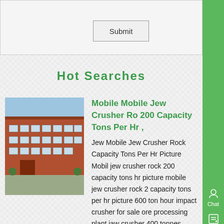Submit
Hot Searches
[Figure (photo): Exterior photo of an industrial brick building with windows and a parking area in front]
Mobile Mobile Jew Crusher Ro 200 Capacity Tons Per Hr ,
Jew Mobile Jew Crusher Rock Capacity Tons Per Hr Picture Mobil jew crusher rock 200 capacity tons hr picture mobile jew crusher rock 2 capacity tons per hr picture 600 ton hour impact crusher for sale ore processing plant jaw crusher 400 tonnes 46664 the 27312 25464 of 21812 and 21315 in memory of get more...